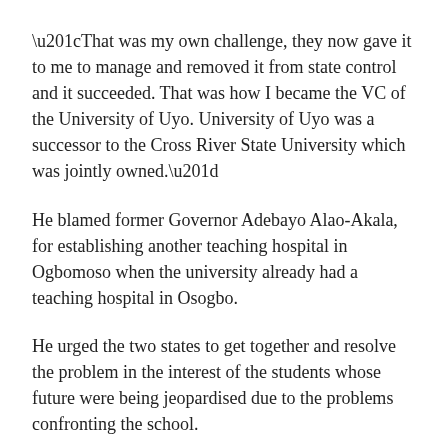“That was my own challenge, they now gave it to me to manage and removed it from state control and it succeeded. That was how I became the VC of the University of Uyo. University of Uyo was a successor to the Cross River State University which was jointly owned.”
He blamed former Governor Adebayo Alao-Akala, for establishing another teaching hospital in Ogbomoso when the university already had a teaching hospital in Osogbo.
He urged the two states to get together and resolve the problem in the interest of the students whose future were being jeopardised due to the problems confronting the school.
Source: Punch News.